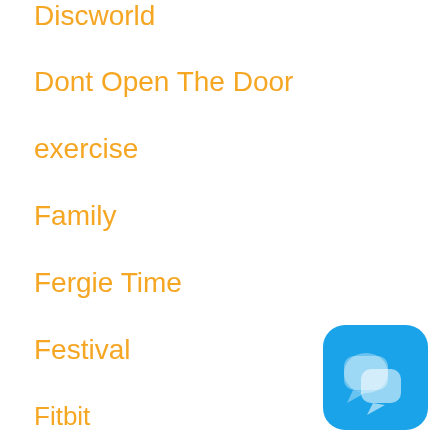Discworld
Dont Open The Door
exercise
Family
Fergie Time
Festival
Fitbit
Fitness
flash fiction
flash friday fiction
flashdogs
FlashFeed
FlashFlood
Food
Football
free competition
[Figure (logo): Blue rounded square icon with two overlapping speech bubble shapes in lighter blue/white]